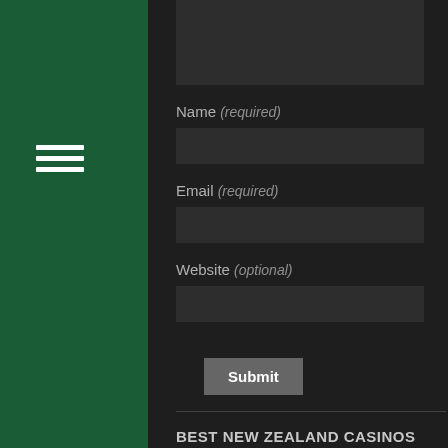[Figure (other): Hamburger menu icon (three horizontal white lines) on dark green sidebar]
Name (required)
Email (required)
Website (optional)
Submit
BEST NEW ZEALAND CASINOS
We have made a selection of the best secure online casinos for players from New Zealand.